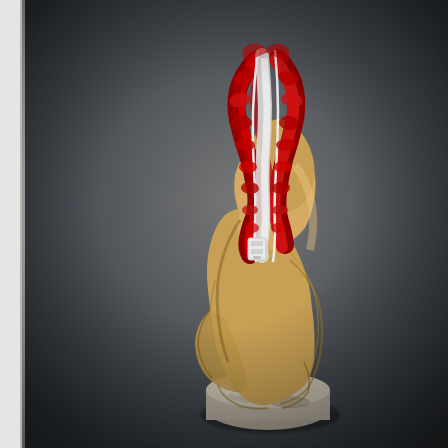[Figure (photo): A sculptural artwork showing a tan/beige fabric or leather form draped over a cylindrical concrete pedestal base. The fabric is partially unzipped from top revealing red ruffled/crinkled fabric and white fuzzy material inside. The zipper pull is visible near the middle. The background is dark gray. A thin white vertical line/border appears on the left edge. The overall shape resembles an elongated teardrop or figure form mounted on a round stone base.]